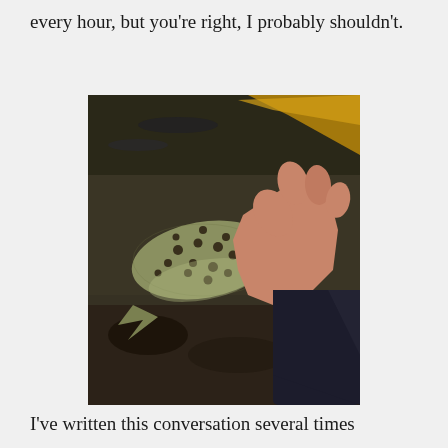every hour, but you're right, I probably shouldn't.
[Figure (photo): A hand holding a brown trout (spotted fish) above a stream or river, with water and rocks visible in the background.]
I've written this conversation several times